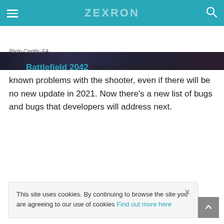ZEXRON
[Figure (photo): Dark game screenshot strip at top of article]
Photo Credits: EA
The Battlefield 2042 team will continue to iron out known problems with the shooter, even if there will be no new update in 2021. Now there's a new list of bugs and bugs that developers will address next.
This site uses cookies. By continuing to browse the site you are agreeing to our use of cookies Find out more here